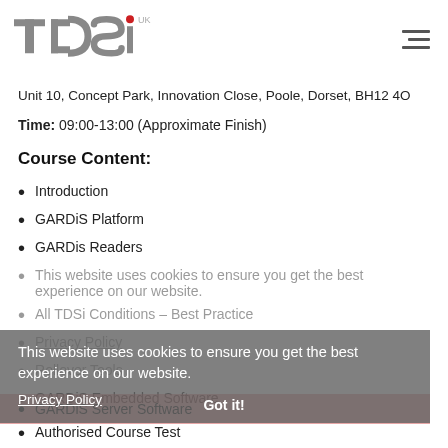[Figure (logo): TDSi UK logo in grey and red]
Unit 10, Concept Park, Innovation Close, Poole, Dorset, BH12 4Q
Time: 09:00-13:00 (Approximate Finish)
Course Content:
Introduction
GARDiS Platform
GARDis Readers
This website uses cookies to ensure you get the best experience on our website.
All TDSi Conditions - Best Practice
Privacy Policy
Rollover Tools
GARDiS Embedded Software
GARDiS Server Software
Authorised Course Test